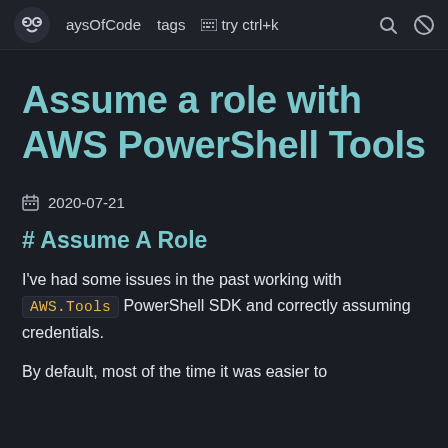aysOfCode  tags  try ctrl+k
Assume a role with AWS PowerShell Tools
2020-07-21
# Assume A Role
I've had some issues in the past working with AWS.Tools PowerShell SDK and correctly assuming credentials.
By default, most of the time it was easier to